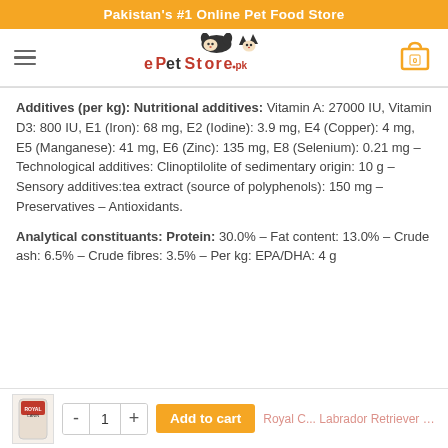Pakistan's #1 Online Pet Food Store
[Figure (logo): ePetStore.pk logo with dog and cat illustration]
Additives (per kg): Nutritional additives: Vitamin A: 27000 IU, Vitamin D3: 800 IU, E1 (Iron): 68 mg, E2 (Iodine): 3.9 mg, E4 (Copper): 4 mg, E5 (Manganese): 41 mg, E6 (Zinc): 135 mg, E8 (Selenium): 0.21 mg – Technological additives: Clinoptilolite of sedimentary origin: 10 g – Sensory additives:tea extract (source of polyphenols): 150 mg – Preservatives – Antioxidants.
Analytical constituants: Protein: 30.0% – Fat content: 13.0% – Crude ash: 6.5% – Crude fibres: 3.5% – Per kg: EPA/DHA: 4 g
Royal C... Labrador Retriever Feeding